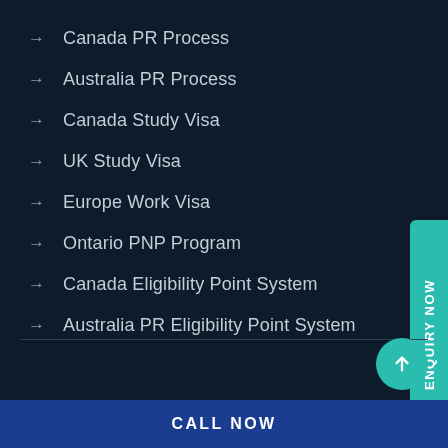Canada PR Process
Australia PR Process
Canada Study Visa
UK Study Visa
Europe Work Visa
Ontario PNP Program
Canada Eligibility Point System
Australia PR Eligibility Point System
ENQUIRY NOW
CALL NOW